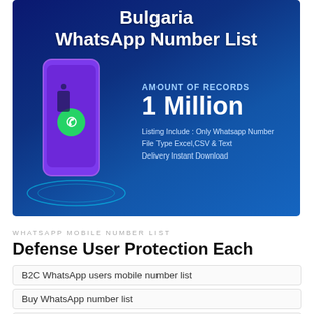[Figure (infographic): Bulgaria WhatsApp Number List promotional banner with phone illustration on dark blue background. Shows 'AMOUNT OF RECORDS 1 Million', listing info: Only Whatsapp Number, File Type Excel CSV & Text, Delivery Instant Download.]
WHATSAPP MOBILE NUMBER LIST
Defense User Protection Each
B2C WhatsApp users mobile number list
Buy WhatsApp number list
WhatsApp contact number list